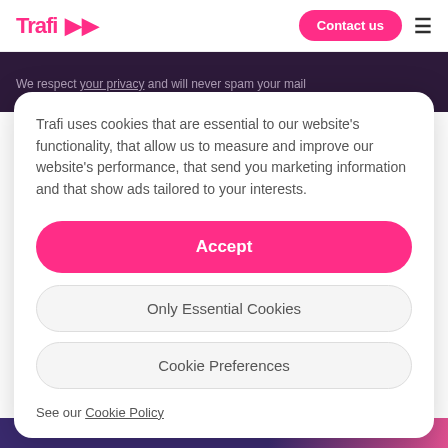Trafi ▶▶
We respect your privacy and will never spam your mail
Trafi uses cookies that are essential to our website's functionality, that allow us to measure and improve our website's performance, that send you marketing information and that show ads tailored to your interests.
Accept
Only Essential Cookies
Cookie Preferences
See our Cookie Policy